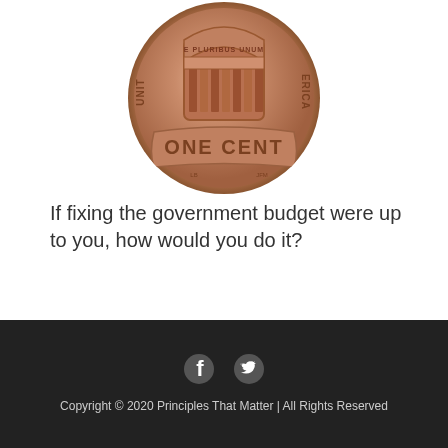[Figure (photo): Close-up photo of a US penny (one cent coin) showing the reverse side with shield design and text 'E PLURIBUS UNUM', 'ONE CENT', 'UNITED STATES OF AMERICA', 'LB', 'JFM']
If fixing the government budget were up to you, how would you do it?
Copyright © 2020 Principles That Matter | All Rights Reserved